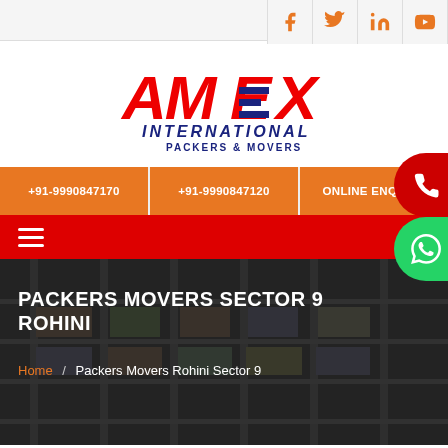Social icons: Facebook, Twitter, LinkedIn, YouTube
[Figure (logo): AMEX International Packers & Movers logo in red and navy blue]
+91-9990847170  +91-9990847120  ONLINE ENQUIRY
PACKERS MOVERS SECTOR 9 ROHINI
Home / Packers Movers Rohini Sector 9